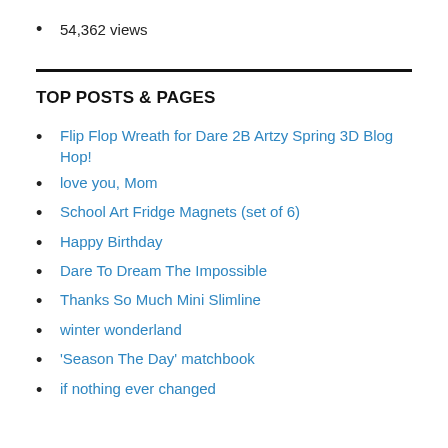54,362 views
TOP POSTS & PAGES
Flip Flop Wreath for Dare 2B Artzy Spring 3D Blog Hop!
love you, Mom
School Art Fridge Magnets (set of 6)
Happy Birthday
Dare To Dream The Impossible
Thanks So Much Mini Slimline
winter wonderland
'Season The Day' matchbook
if nothing ever changed